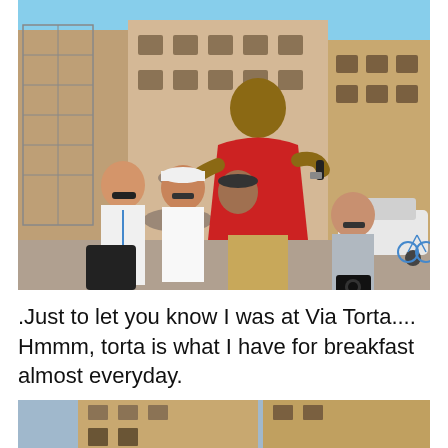[Figure (photo): A man in a red polo shirt holding a microphone speaks to a group of tourists in an Italian piazza. Behind him are classic Italian buildings, scaffolding, a fountain, a white car, and a blue bicycle. Several tourists wearing sunhats and sunglasses listen attentively.]
.Just to let you know I was at Via Torta.... Hmmm, torta is what I have for breakfast  almost everyday.
[Figure (photo): Partial view of an Italian street scene showing buildings with shuttered windows, seen from below looking upward.]